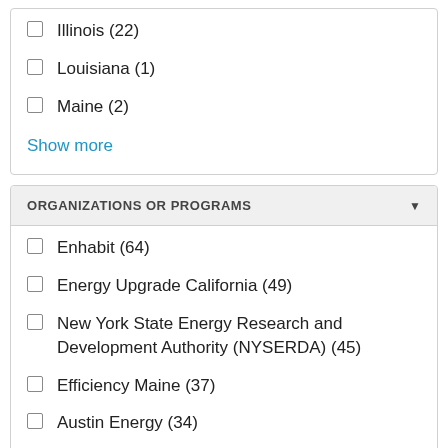Illinois (22)
Louisiana (1)
Maine (2)
Show more
ORGANIZATIONS OR PROGRAMS
Enhabit (64)
Energy Upgrade California (49)
New York State Energy Research and Development Authority (NYSERDA) (45)
Efficiency Maine (37)
Austin Energy (34)
Michigan Saves (28)